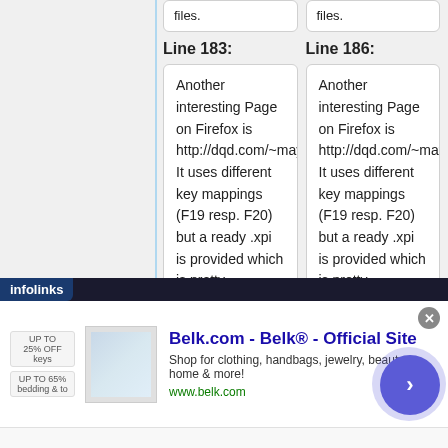files.
files.
Line 183:
Line 186:
Another interesting Page on Firefox is http://dqd.com/~mayoff/notes/thinkpad/dqdnavkeys/ It uses different key mappings (F19 resp. F20) but a ready .xpi is provided which is pretty comfortable
Another interesting Page on Firefox is http://dqd.com/~mayoff/notes/thinkpad/dqdnavkeys/ It uses different key mappings (F19 resp. F20) but a ready .xpi is provided which is pretty comfortable
[Figure (screenshot): Advertisement banner for Belk.com showing 'Belk® - Official Site' with shopping categories and navigation arrow button, with infolinks branding and close button]